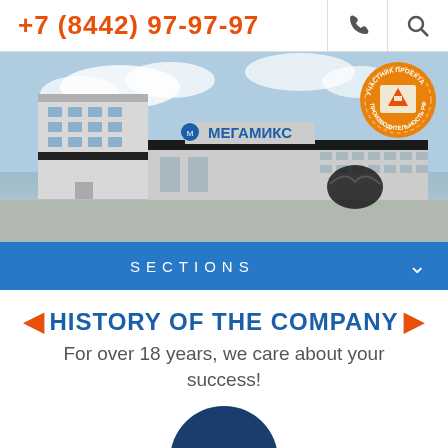+7 (8442) 97-97-97
[Figure (photo): Exterior of a large industrial building with the Megamix logo (МЕГАМИКС) and a project participant badge in the top right corner.]
SECTIONS
HISTORY OF THE COMPANY
For over 18 years, we care about your success!
[Figure (infographic): Dark blue circle with the year 2017 in white text.]
Striving for Leadership